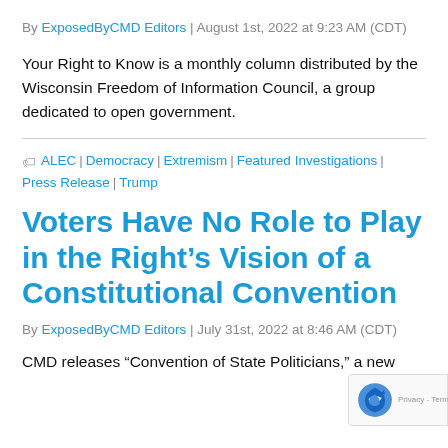By ExposedByCMD Editors | August 1st, 2022 at 9:23 AM (CDT)
Your Right to Know is a monthly column distributed by the Wisconsin Freedom of Information Council, a group dedicated to open government.
ALEC | Democracy | Extremism | Featured Investigations | Press Release | Trump
Voters Have No Role to Play in the Right's Vision of a Constitutional Convention
By ExposedByCMD Editors | July 31st, 2022 at 8:46 AM (CDT)
CMD releases “Convention of State Politicians,” a new...